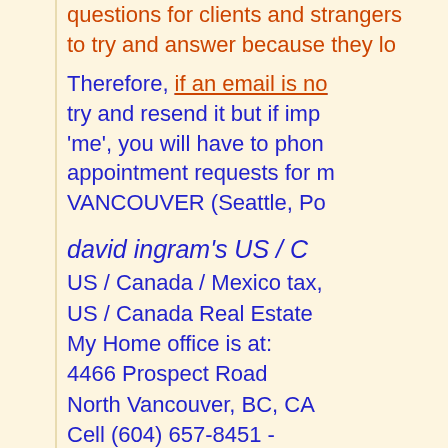questions for clients and strangers to try and answer because they lo
Therefore, if an email is no try and resend it but if imp 'me', you will have to phon appointment requests for m VANCOUVER (Seattle, Po
david ingram's US / C US / Canada / Mexico tax, US / Canada Real Estate My Home office is at: 4466 Prospect Road North Vancouver, BC, CA Cell (604) 657-8451 - (604) 980-0321 Fax (60
Calls welcomed from 10 A fax or phone outside of tho
email to taxman@centa.c